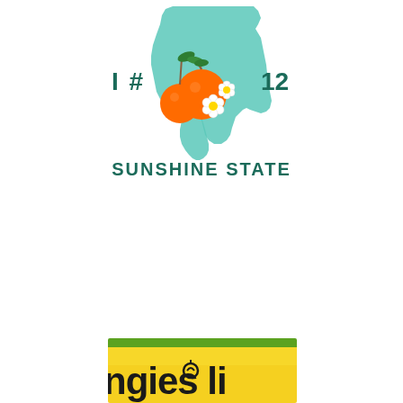[Figure (logo): Florida Sunshine State emblem with teal Florida state outline, orange citrus fruits with white blossoms, and text 'I # 12' flanking the emblem, with 'SUNSHINE STATE' below in teal capital letters]
[Figure (photo): Partial view of a yellow and green label reading 'ngies li' (partial text, likely 'Angie's li...'), with a green stripe at top and yellow background]